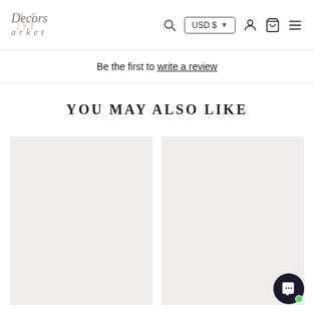Decors Market — USD $ navigation header with search, currency selector, account, cart, and menu icons
Be the first to write a review
YOU MAY ALSO LIKE
[Figure (photo): Left product card placeholder — light beige empty product image]
[Figure (photo): Right product card placeholder — light beige empty product image]